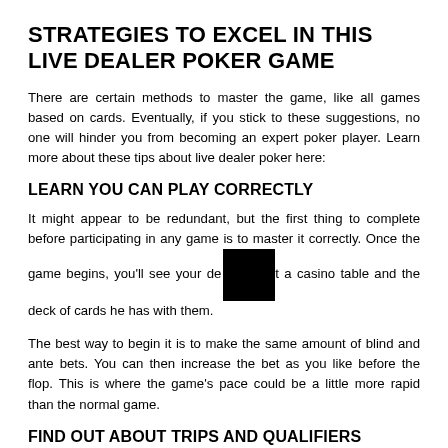STRATEGIES TO EXCEL IN THIS LIVE DEALER POKER GAME
There are certain methods to master the game, like all games based on cards. Eventually, if you stick to these suggestions, no one will hinder you from becoming an expert poker player. Learn more about these tips about live dealer poker here:
LEARN YOU CAN PLAY CORRECTLY
It might appear to be redundant, but the first thing to complete before participating in any game is to master it correctly. Once the game begins, you'll see your dealer at a casino table and the deck of cards he has with them.
The best way to begin it is to make the same amount of blind and ante bets. You can then increase the bet as you like before the flop. This is where the game's pace could be a little more rapid than the normal game.
FIND OUT ABOUT TRIPS AND QUALIFIERS